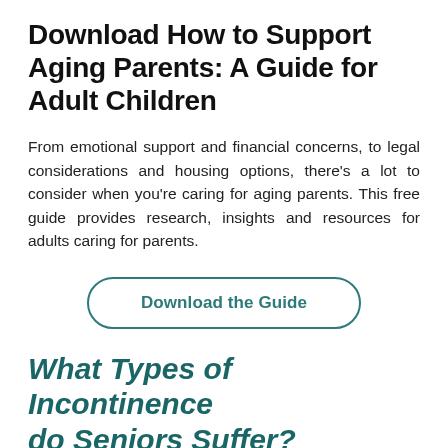Download How to Support Aging Parents: A Guide for Adult Children
From emotional support and financial concerns, to legal considerations and housing options, there’s a lot to consider when you’re caring for aging parents. This free guide provides research, insights and resources for adults caring for parents.
Download the Guide
What Types of Incontinence do Seniors Suffer?